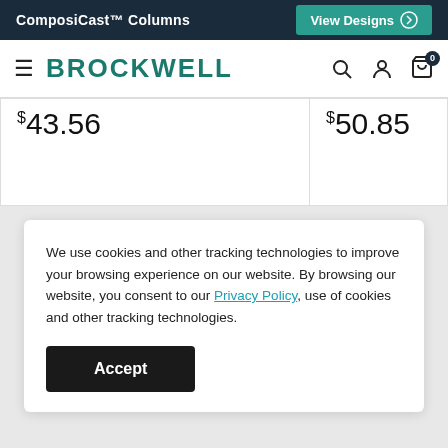ComposiCast™ Columns | View Designs
BROCKWELL
$43.56
$50.85
We use cookies and other tracking technologies to improve your browsing experience on our website. By browsing our website, you consent to our Privacy Policy, use of cookies and other tracking technologies.
Accept